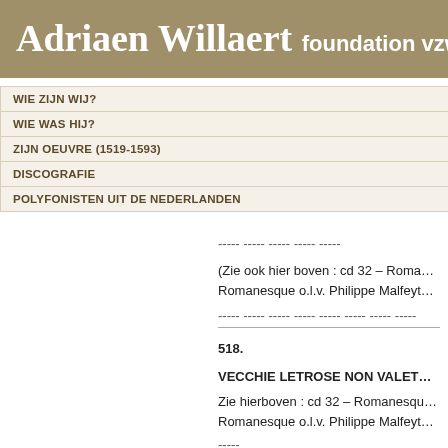Adriaen Willaert foundation vzw
WIE ZIJN WIJ?
WIE WAS HIJ?
ZIJN OEUVRE (1519-1593)
DISCOGRAFIE
POLYFONISTEN UIT DE NEDERLANDEN
----- ----- ----- ----- -----
(Zie ook hier boven : cd 32 – Romanesque o.l.v. Philippe Malfeyt
----- ----- ----- ----- ----- ----- ----- -----
518.
VECCHIE LETROSE NON VALET
Zie hierboven : cd 32 – Romanesque o.l.v. Philippe Malfeyt
-----